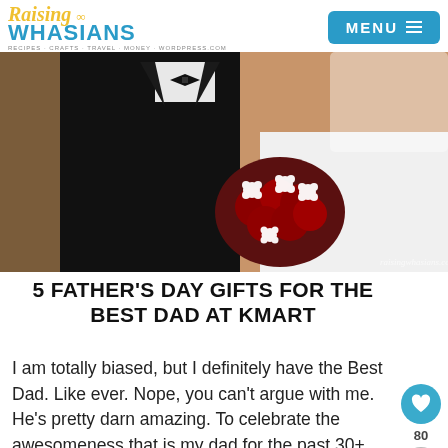Raising Whasians — RECIPES CRAFTS TRAVEL MONEY WORDPRESS.COM — MENU
[Figure (photo): Wedding photo showing a groom in a black tuxedo and a bride in a white dress holding a bouquet of red roses with white flower accents]
5 FATHER'S DAY GIFTS FOR THE BEST DAD AT KMART
I am totally biased, but I definitely have the Best Dad. Like ever. Nope, you can't argue with me. He's pretty darn amazing. To celebrate the awesomeness that is my dad for the past 30+